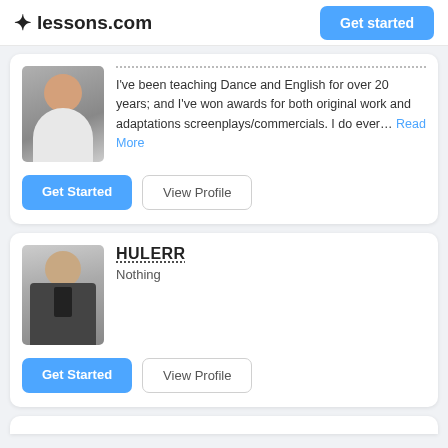lessons.com | Get started
[Figure (screenshot): Partially visible instructor profile card with photo and text: I've been teaching Dance and English for over 20 years; and I've won awards for both original work and adaptations screenplays/commercials. I do ever... Read More. Buttons: Get Started, View Profile]
I've been teaching Dance and English for over 20 years; and I've won awards for both original work and adaptations screenplays/commercials. I do ever... Read More
HULERR
Nothing
[Figure (photo): Profile photo of HULERR - bald man in suit]